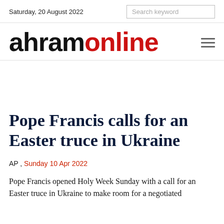Saturday, 20 August 2022  Search keyword
ahramonline
Pope Francis calls for an Easter truce in Ukraine
AP , Sunday 10 Apr 2022
Pope Francis opened Holy Week Sunday with a call for an Easter truce in Ukraine to make room for a negotiated